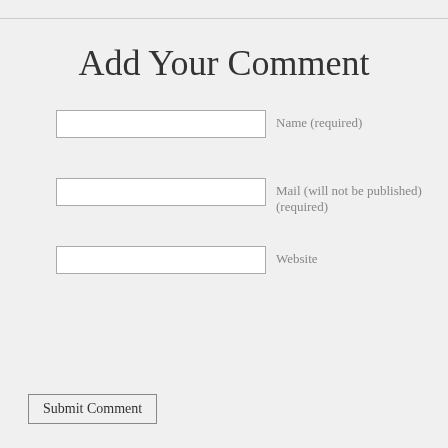Add Your Comment
Name (required)
Mail (will not be published) (required)
Website
Submit Comment